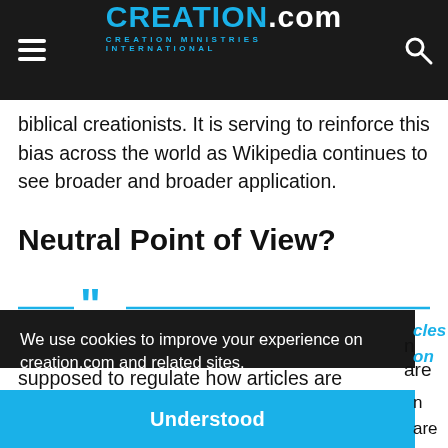CREATION.com — CREATION MINISTRIES INTERNATIONAL
biblical creationists. It is serving to reinforce this bias across the world as Wikipedia continues to see broader and broader application.
Neutral Point of View?
[Figure (other): Blue quotation mark decorator with horizontal lines on either side]
We use cookies to improve your experience on creation.com and related sites.
Privacy Policy
Understood
supposed to regulate how articles are administered on